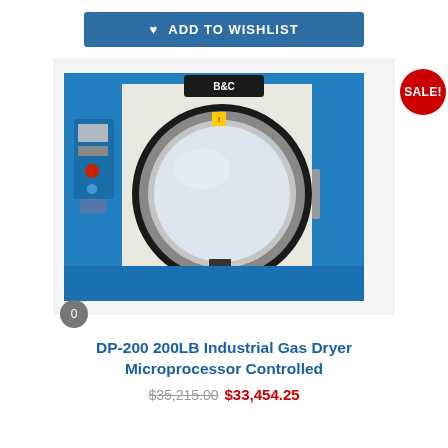ADD TO WISHLIST
[Figure (photo): Industrial blue gas dryer machine (B&C brand) with large round door, control panel on left side, microprocessor controlled. White drum interior visible through the open door area.]
SALE!
0
DP-200 200LB Industrial Gas Dryer Microprocessor Controlled
$35,215.00 $33,454.25